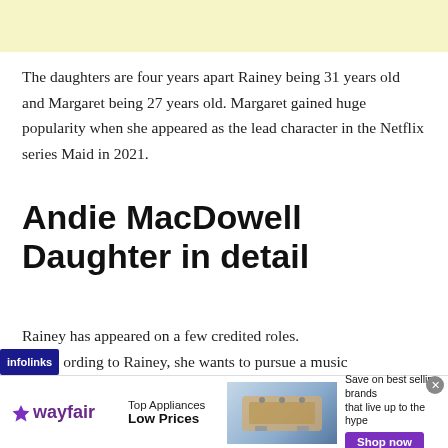The daughters are four years apart Rainey being 31 years old and Margaret being 27 years old. Margaret gained huge popularity when she appeared as the lead character in the Netflix series Maid in 2021.
Andie MacDowell Daughter in detail
Rainey has appeared on a few credited roles.
According to Rainey, she wants to pursue a music
[Figure (other): Wayfair advertisement banner: Top Appliances Low Prices, Save on best selling brands that live up to the hype, Shop now button]